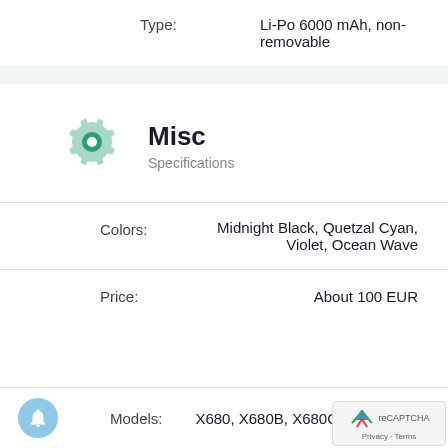Type: Li-Po 6000 mAh, non-removable
Misc
Specifications
Colors: Midnight Black, Quetzal Cyan, Violet, Ocean Wave
Price: About 100 EUR
Models: X680, X680B, X680C